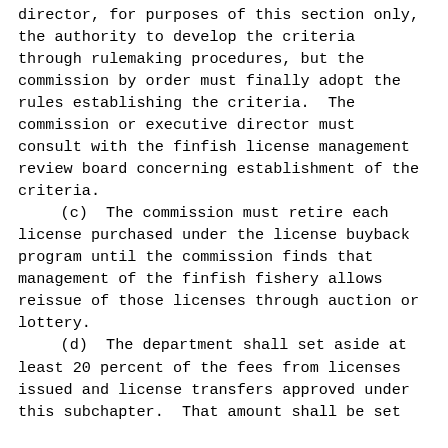director, for purposes of this section only, the authority to develop the criteria through rulemaking procedures, but the commission by order must finally adopt the rules establishing the criteria.  The commission or executive director must consult with the finfish license management review board concerning establishment of the criteria.
        (c)  The commission must retire each license purchased under the license buyback program until the commission finds that management of the finfish fishery allows reissue of those licenses through auction or lottery.
        (d)  The department shall set aside at least 20 percent of the fees from licenses issued and license transfers approved under this subchapter.  That amount shall be set